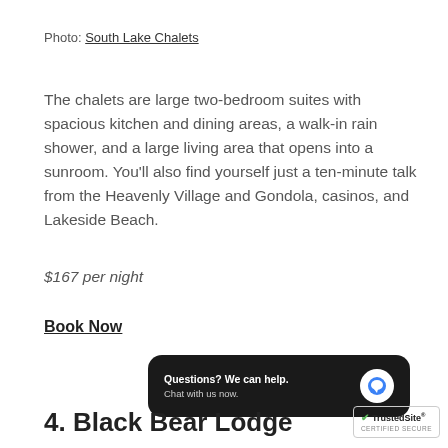Photo: South Lake Chalets
The chalets are large two-bedroom suites with spacious kitchen and dining areas, a walk-in rain shower, and a large living area that opens into a sunroom. You'll also find yourself just a ten-minute talk from the Heavenly Village and Gondola, casinos, and Lakeside Beach.
$167 per night
Book Now
[Figure (screenshot): Chat widget with text 'Questions? We can help. Chat with us now.' and a blue speech bubble icon on dark background.]
4. Black Bear Lodge
[Figure (logo): TrustedSite Certified Secure badge with green checkmark.]